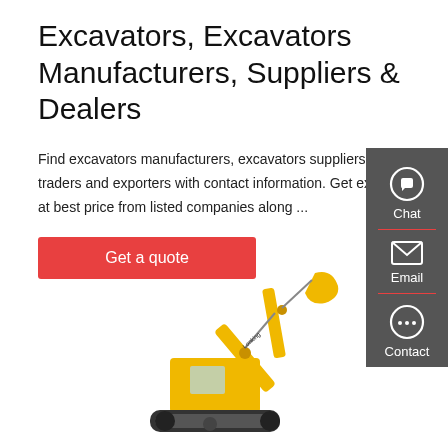Excavators, Excavators Manufacturers, Suppliers & Dealers
Find excavators manufacturers, excavators suppliers, dealers, traders and exporters with contact information. Get excavators at best price from listed companies along ...
Get a quote
[Figure (other): Sidebar with Chat, Email, and Contact icons on dark grey background]
[Figure (photo): Yellow Lonking excavator construction machine on white background]